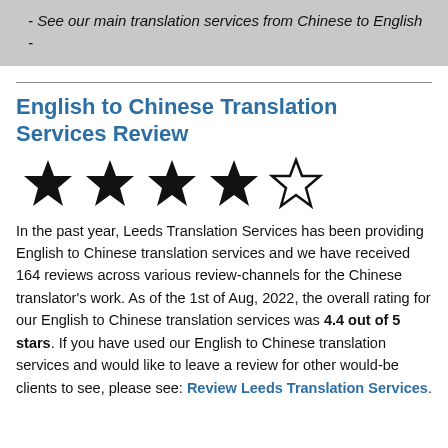- See our main translation services from Chinese to English -
English to Chinese Translation Services Review
[Figure (infographic): 4 filled black stars and 1 empty/outline star representing a 4 out of 5 star rating]
In the past year, Leeds Translation Services has been providing English to Chinese translation services and we have received 164 reviews across various review-channels for the Chinese translator's work. As of the 1st of Aug, 2022, the overall rating for our English to Chinese translation services was 4.4 out of 5 stars. If you have used our English to Chinese translation services and would like to leave a review for other would-be clients to see, please see: Review Leeds Translation Services.